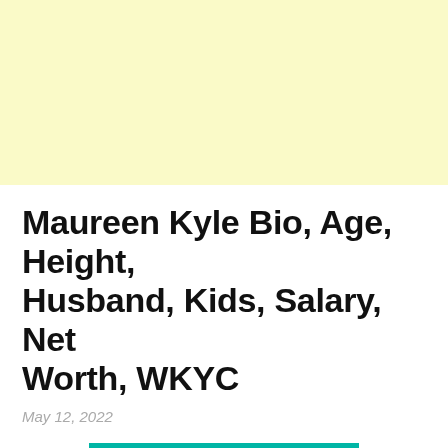[Figure (other): Light yellow advertisement banner at the top of the page]
Maureen Kyle Bio, Age, Height, Husband, Kids, Salary, Net Worth, WKYC
May 12, 2022
[Figure (photo): Partial photo of Maureen Kyle against a teal/turquoise background, cropped at top showing head and hair]